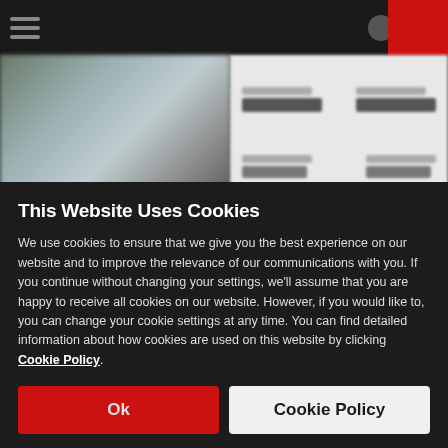[Figure (screenshot): Blurred website background showing a navigation bar with hamburger menu, icons, and a red corner element, plus a car listing with vehicle image and pricing information panels]
This Website Uses Cookies
We use cookies to ensure that we give you the best experience on our website and to improve the relevance of our communications with you. If you continue without changing your settings, we'll assume that you are happy to receive all cookies on our website. However, if you would like to, you can change your cookie settings at any time. You can find detailed information about how cookies are used on this website by clicking Cookie Policy.
Ok
Cookie Policy